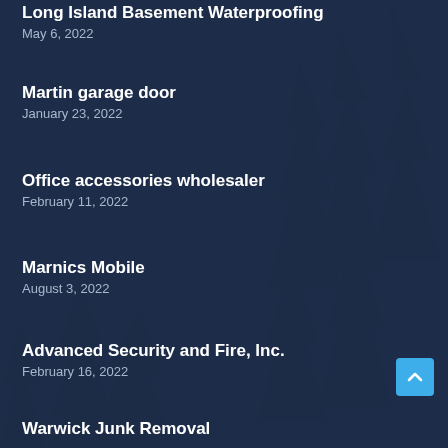Long Island Basement Waterproofing
May 6, 2022
Martin garage door
January 23, 2022
Office accessories wholesaler
February 11, 2022
Marnics Mobile
August 3, 2022
Advanced Security and Fire, Inc.
February 16, 2022
Warwick Junk Removal